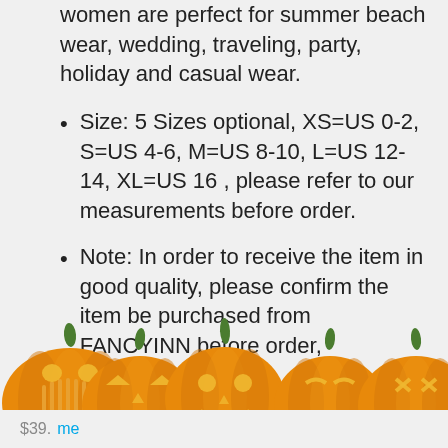women are perfect for summer beach wear, wedding, traveling, party, holiday and casual wear.
Size: 5 Sizes optional, XS=US 0-2, S=US 4-6, M=US 8-10, L=US 12-14, XL=US 16 , please refer to our measurements before order.
Note: In order to receive the item in good quality, please confirm the item be purchased from FANCYINN before order,
[Figure (illustration): Row of five carved Halloween jack-o-lantern pumpkins with glowing faces at the bottom of the page]